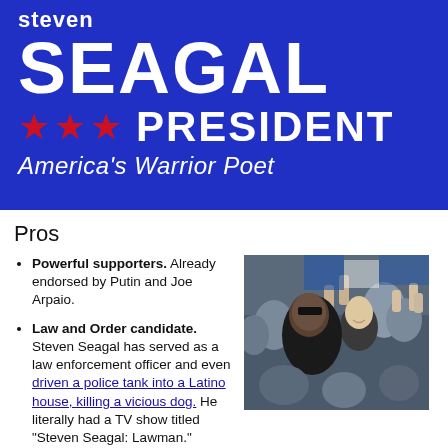[Figure (infographic): Campaign-style banner with blue background. Text reads 'steven SEAGAL ★★★ PRESIDENT America's Warrior Poet' in white and red.]
Pros
Powerful supporters. Already endorsed by Putin and Joe Arpaio.
Law and Order candidate. Steven Seagal has served as a law enforcement officer and even driven a police tank into a Latino house, killing a vicious dog. He literally had a TV show titled "Steven Seagal: Lawman."
[Figure (photo): Photo of Steven Seagal and Vladimir Putin together in a crowd of people with raised fists.]